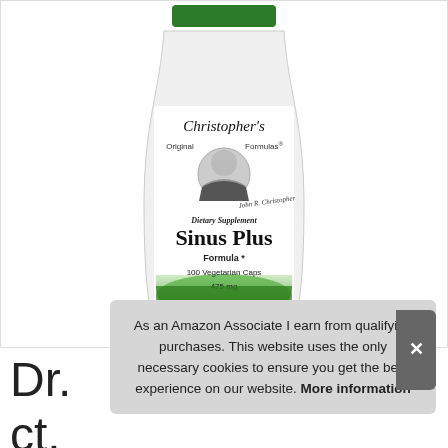[Figure (photo): Christopher's Original Formulas Sinus Plus Formula dietary supplement bottle, white with green label, 100 Vegetarian Caps 475 mg, featuring a portrait of Dr. Christopher]
As an Amazon Associate I earn from qualifying purchases. This website uses the only necessary cookies to ensure you get the best experience on our website. More information
Dr. ... ct.